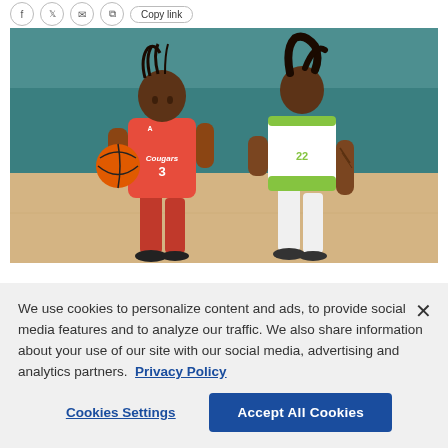[Figure (photo): Two basketball players in action: a player in red Houston Cougars #3 jersey dribbling the ball, defended by a player in white/green South Florida jersey. Indoor arena setting with teal/green background.]
We use cookies to personalize content and ads, to provide social media features and to analyze our traffic. We also share information about your use of our site with our social media, advertising and analytics partners. Privacy Policy
Cookies Settings
Accept All Cookies